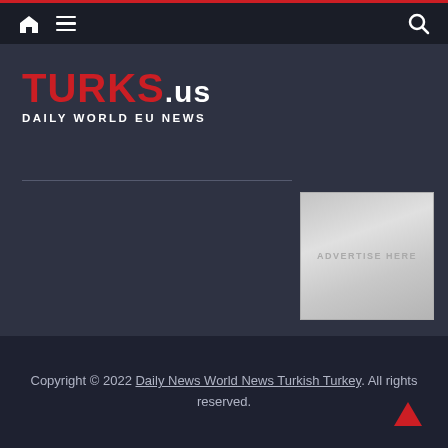Navigation bar with home icon, hamburger menu, and search icon
TURKS.us DAILY WORLD EU NEWS
[Figure (illustration): Advertisement placeholder box with text ADVERTISE HERE]
Copyright © 2022 Daily News World News Turkish Turkey. All rights reserved.